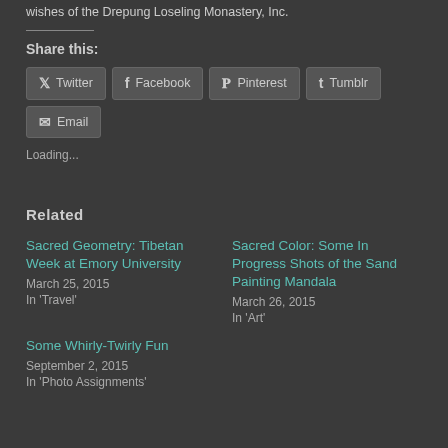wishes of the Drepung Loseling Monastery, Inc.
Share this:
Twitter | Facebook | Pinterest | Tumblr | Email
Loading...
Related
Sacred Geometry: Tibetan Week at Emory University
March 25, 2015
In 'Travel'
Sacred Color: Some In Progress Shots of the Sand Painting Mandala
March 26, 2015
In 'Art'
Some Whirly-Twirly Fun
September 2, 2015
In 'Photo Assignments'